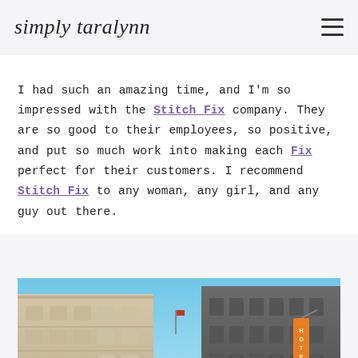simply taralynn
I had such an amazing time, and I'm so impressed with the Stitch Fix company. They are so good to their employees, so positive, and put so much work into making each Fix perfect for their customers. I recommend Stitch Fix to any woman, any girl, and any guy out there.
[Figure (photo): Street-level upward view of urban buildings with a blue sky. An orange hotel sign is visible on the right building. Classic multi-story brick and stone architecture.]